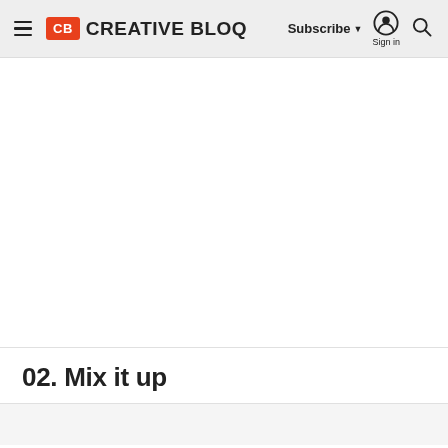CB CREATIVE BLOQ | Subscribe ▼ | Sign in | Search
[Figure (other): Large white/blank content area, likely an image placeholder or scrolled-past content]
02. Mix it up